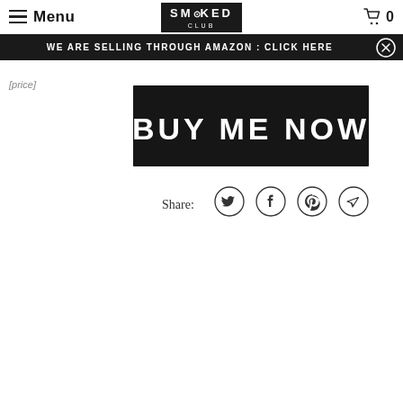≡ Menu | SMOKED CLUB | 🛒 0
WE ARE SELLING THROUGH AMAZON : CLICK HERE
[price text partially visible]
[Figure (other): Black button with bold white text 'BUY ME NOW']
Share:
[Figure (other): Row of social share icons: Twitter, Facebook, Pinterest, Telegram]